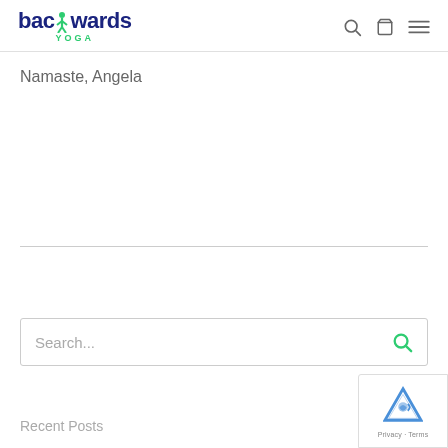backwards YOGA — navigation header with search, cart, and menu icons
Namaste, Angela
[Figure (screenshot): Search input box with placeholder text 'Search...' and a green search icon on the right]
Recent Posts
[Figure (other): Google reCAPTCHA badge in the bottom-right corner showing the reCAPTCHA logo and 'Privacy · Terms' text]